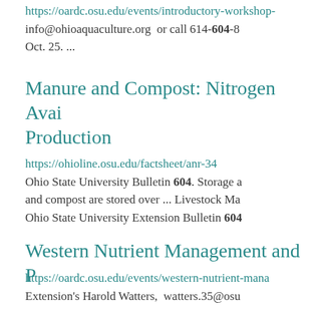https://oardc.osu.edu/events/introductory-workshop- info@ohioaquaculture.org  or call 614-604-8 Oct. 25. ...
Manure and Compost: Nitrogen Avai Production
https://ohioline.osu.edu/factsheet/anr-34 Ohio State University Bulletin 604. Storage a and compost are stored over ... Livestock Ma Ohio State University Extension Bulletin 604
Western Nutrient Management and P
https://oardc.osu.edu/events/western-nutrient-mana Extension's Harold Watters,  watters.35@osu